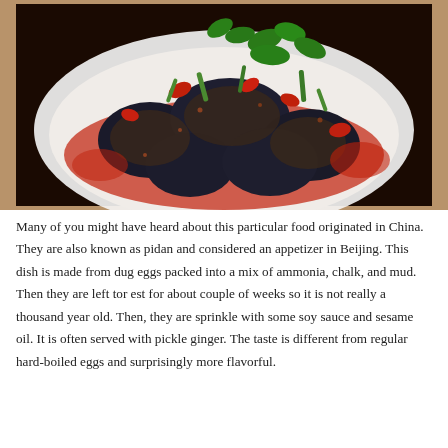[Figure (photo): A plate of century eggs (pidan) topped with red chili sauce, chopped green onions, cilantro, and red chilies on a white plate.]
Many of you might have heard about this particular food originated in China. They are also known as pidan and considered an appetizer in Beijing. This dish is made from dug eggs packed into a mix of ammonia, chalk, and mud. Then they are left tor est for about couple of weeks so it is not really a thousand year old. Then, they are sprinkle with some soy sauce and sesame oil. It is often served with pickle ginger. The taste is different from regular hard-boiled eggs and surprisingly more flavorful.